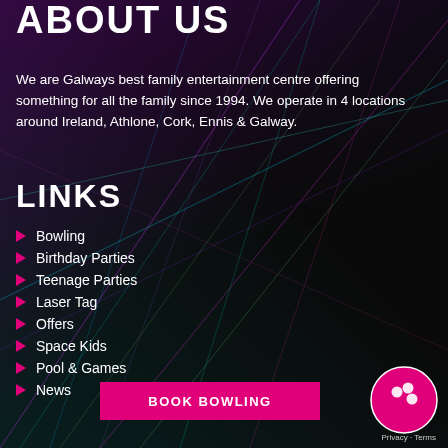ABOUT US
We are Galways best family entertainment centre offering something for all the family since 1994. We operate in 4 locations around Ireland, Athlone, Cork, Ennis & Galway.
LINKS
Bowling
Birthday Parties
Teenage Parties
Laser Tag
Offers
Space Kids
Pool & Games
News
[Figure (illustration): Laser tag background with colorful laser beams in dark setting]
BOOK BOWLING
[Figure (logo): Bowling ball logo icon with pink/magenta circle]
Privacy · Terms